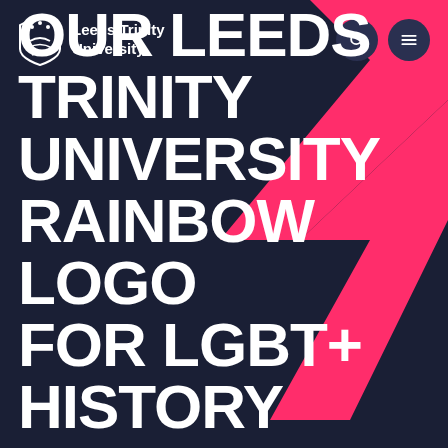[Figure (logo): Leeds Trinity University shield logo with stars and wave design, white on dark background, with university name text]
[Figure (illustration): Two pink diagonal stripe graphic elements crossing from upper right area, forming an X or chevron shape against dark navy background]
LAUNCHING OUR LEEDS TRINITY UNIVERSITY RAINBOW LOGO FOR LGBT+ HISTORY